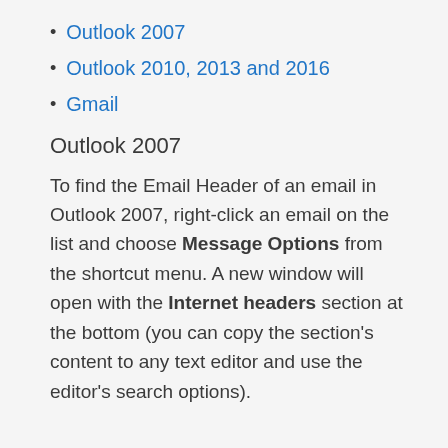Outlook 2007
Outlook 2010, 2013 and 2016
Gmail
Outlook 2007
To find the Email Header of an email in Outlook 2007, right-click an email on the list and choose Message Options from the shortcut menu. A new window will open with the Internet headers section at the bottom (you can copy the section's content to any text editor and use the editor's search options).